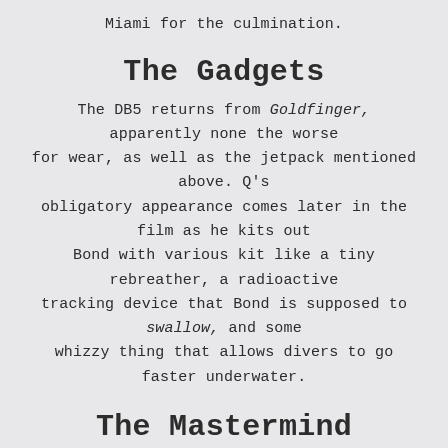Miami for the culmination.
The Gadgets
The DB5 returns from Goldfinger, apparently none the worse for wear, as well as the jetpack mentioned above. Q's obligatory appearance comes later in the film as he kits out Bond with various kit like a tiny rebreather, a radioactive tracking device that Bond is supposed to swallow, and some whizzy thing that allows divers to go faster underwater.
The Mastermind
SPECTRE is back in full effect with an office meeting from hell, as Blofeld makes use of the organisation's expedited exit